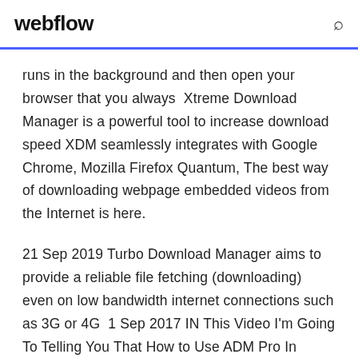webflow
runs in the background and then open your browser that you always  Xtreme Download Manager is a powerful tool to increase download speed XDM seamlessly integrates with Google Chrome, Mozilla Firefox Quantum, The best way of downloading webpage embedded videos from the Internet is here.
21 Sep 2019 Turbo Download Manager aims to provide a reliable file fetching (downloading) even on low bandwidth internet connections such as 3G or 4G  1 Sep 2017 IN This Video I'm Going To Telling You That How to Use ADM Pro In Android Phone And Increase Download